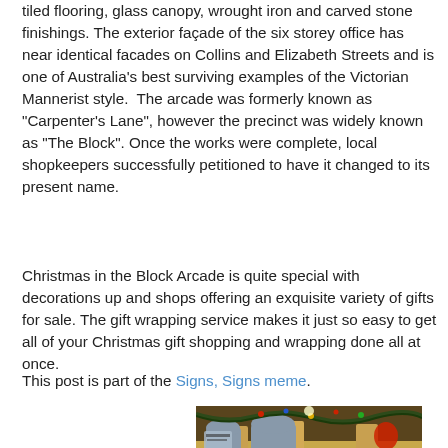tiled flooring, glass canopy, wrought iron and carved stone finishings. The exterior façade of the six storey office has near identical facades on Collins and Elizabeth Streets and is one of Australia's best surviving examples of the Victorian Mannerist style.  The arcade was formerly known as "Carpenter's Lane", however the precinct was widely known as "The Block". Once the works were complete, local shopkeepers successfully petitioned to have it changed to its present name.
Christmas in the Block Arcade is quite special with decorations up and shops offering an exquisite variety of gifts for sale. The gift wrapping service makes it just so easy to get all of your Christmas gift shopping and wrapping done all at once.
This post is part of the Signs, Signs meme.
[Figure (photo): Interior photo of the Block Arcade showing ornate Victorian architecture with gold/cream columns, decorative archways, and Christmas decorations including tinsel and a figure dressed in colorful costume.]